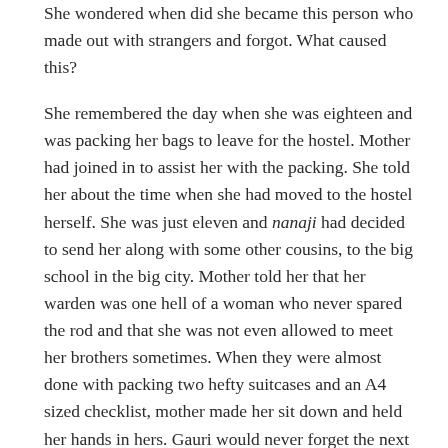She wondered when did she became this person who made out with strangers and forgot. What caused this?
She remembered the day when she was eighteen and was packing her bags to leave for the hostel. Mother had joined in to assist her with the packing. She told her about the time when she had moved to the hostel herself. She was just eleven and nanaji had decided to send her along with some other cousins, to the big school in the big city. Mother told her that her warden was one hell of a woman who never spared the rod and that she was not even allowed to meet her brothers sometimes. When they were almost done with packing two hefty suitcases and an A4 sized checklist, mother made her sit down and held her hands in hers. Gauri would never forget the next few words her mother said, mostly because her mother was never a woman of too